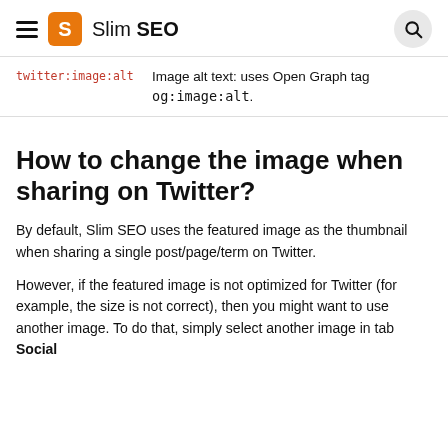Slim SEO
| Tag | Description |
| --- | --- |
| twitter:image:alt | Image alt text: uses Open Graph tag og:image:alt. |
How to change the image when sharing on Twitter?
By default, Slim SEO uses the featured image as the thumbnail when sharing a single post/page/term on Twitter.
However, if the featured image is not optimized for Twitter (for example, the size is not correct), then you might want to use another image. To do that, simply select another image in tab Social